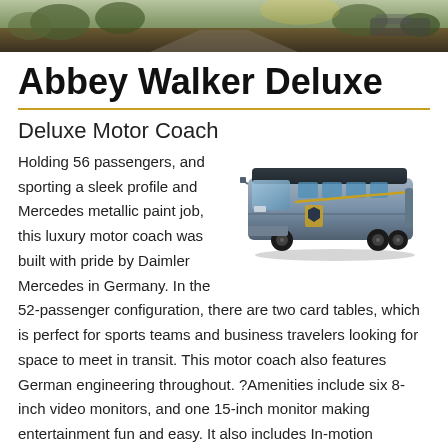[Figure (photo): Header photo showing a scenic road or outdoor setting with warm golden tones]
Abbey Walker Deluxe
Deluxe Motor Coach
[Figure (photo): Silver/blue luxury motor coach bus with Mercedes metallic paint and golden shield logo on the side]
Holding 56 passengers, and sporting a sleek profile and Mercedes metallic paint job, this luxury motor coach was built with pride by Daimler Mercedes in Germany. In the 52-passenger configuration, there are two card tables, which is perfect for sports teams and business travelers looking for space to meet in transit. This motor coach also features German engineering throughout. ?Amenities include six 8-inch video monitors, and one 15-inch monitor making entertainment fun and easy. It also includes In-motion Satellite TV and Wi-Fi, which sets this coach apart from